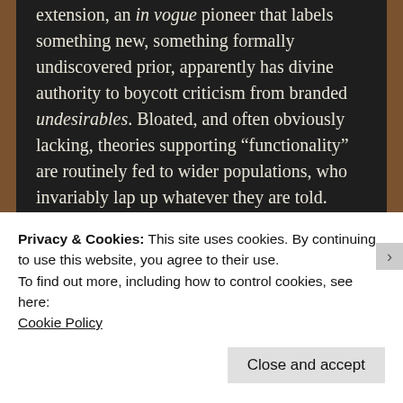extension, an in vogue pioneer that labels something new, something formally undiscovered prior, apparently has divine authority to boycott criticism from branded undesirables. Bloated, and often obviously lacking, theories supporting “functionality” are routinely fed to wider populations, who invariably lap up whatever they are told. Once “knowledge tracks” are laid it takes an earthquake to uproot them and this is fundamentally why people are so easy to groom.
Privacy & Cookies: This site uses cookies. By continuing to use this website, you agree to their use.
To find out more, including how to control cookies, see here:
Cookie Policy
Close and accept